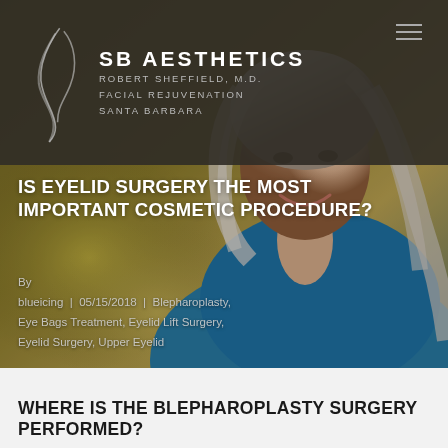SB AESTHETICS ROBERT SHEFFIELD, M.D. FACIAL REJUVENATION SANTA BARBARA
[Figure (photo): Smiling woman with silver-blonde hair wearing a teal turtleneck sweater, used as hero background image for a facial rejuvenation surgery blog post]
IS EYELID SURGERY THE MOST IMPORTANT COSMETIC PROCEDURE?
By blueicing | 05/15/2018 | Blepharoplasty, Eye Bags Treatment, Eyelid Lift Surgery, Eyelid Surgery, Upper Eyelid
WHERE IS THE BLEPHAROPLASTY SURGERY PERFORMED?